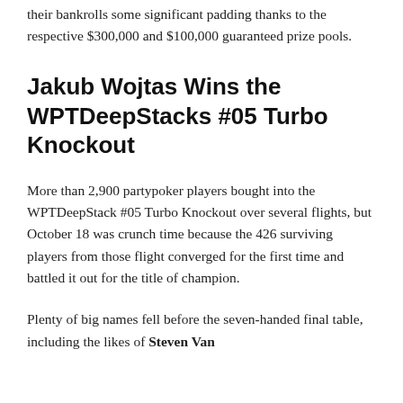their bankrolls some significant padding thanks to the respective $300,000 and $100,000 guaranteed prize pools.
Jakub Wojtas Wins the WPTDeepStacks #05 Turbo Knockout
More than 2,900 partypoker players bought into the WPTDeepStack #05 Turbo Knockout over several flights, but October 18 was crunch time because the 426 surviving players from those flight converged for the first time and battled it out for the title of champion.
Plenty of big names fell before the seven-handed final table, including the likes of Steven Van